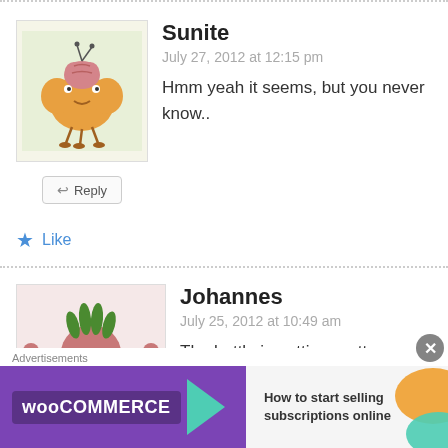[Figure (illustration): Avatar of Sunite: cartoon monster/creature with brain visible on top, orange body with legs, on light green background]
Sunite
July 27, 2012 at 12:15 pm
Hmm yeah it seems, but you never know..
↩ Reply
★ Like
[Figure (illustration): Avatar of Johannes: cartoon pink monster with green hair/spikes on top, arms raised, on light pink background]
Johannes
July 25, 2012 at 10:49 am
The battle is getting pretty intense. Byakuya, Renji and Rukia are defeated but Kenpachi is a monster. Seeing him carrying 3 dead bodies
↩ Reply
Advertisements
[Figure (screenshot): WooCommerce advertisement banner: purple background with WooCommerce logo and teal arrow, text says 'How to start selling subscriptions online', orange decorative shape on right]